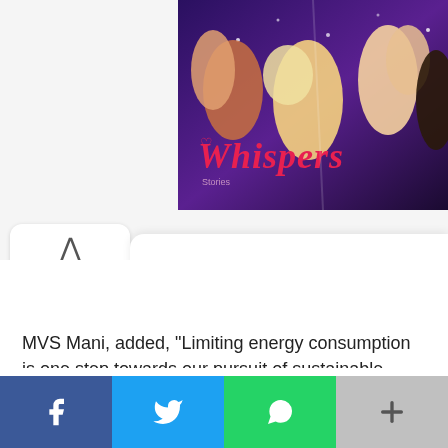[Figure (illustration): Whispers story/game promotional image with colorful characters and the title 'Whispers' in red italic text on a dark purple background]
MVS Mani, added, “Limiting energy consumption is one step towards our pursuit of sustainable development. However, to maximise output while minimising energy consumption requires
[Figure (infographic): Social media sharing bar at the bottom with Facebook (blue), Twitter (light blue), WhatsApp (green), and More (+) buttons]